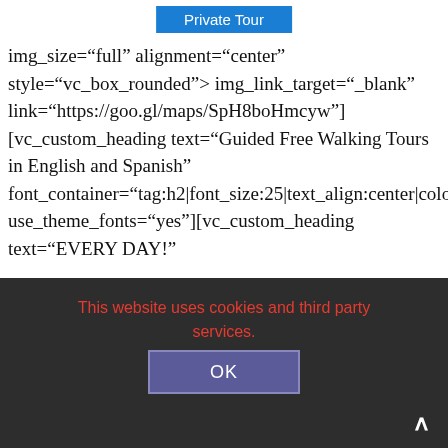Private Tour
img_size="full" alignment="center" style="vc_box_rounded" onclick="custom_link" img_link_target="_blank" link="https://goo.gl/maps/SpH8boHmcyw"] [vc_custom_heading text="Guided Free Walking Tours in English and Spanish" font_container="tag:h2|font_size:25|text_align:center|color: use_theme_fonts="yes"][vc_custom_heading text="EVERY DAY!"
This website uses cookies and third party services.
OK